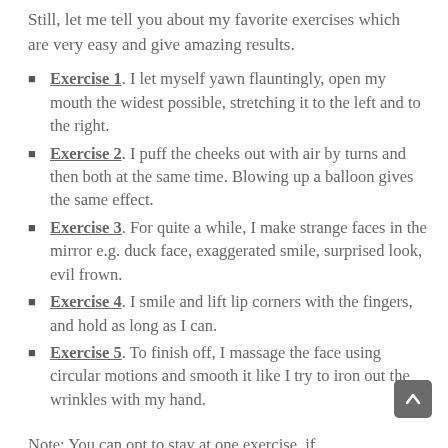Still, let me tell you about my favorite exercises which are very easy and give amazing results.
Exercise 1. I let myself yawn flauntingly, open my mouth the widest possible, stretching it to the left and to the right.
Exercise 2. I puff the cheeks out with air by turns and then both at the same time. Blowing up a balloon gives the same effect.
Exercise 3. For quite a while, I make strange faces in the mirror e.g. duck face, exaggerated smile, surprised look, evil frown.
Exercise 4. I smile and lift lip corners with the fingers, and hold as long as I can.
Exercise 5. To finish off, I massage the face using circular motions and smooth it like I try to iron out the wrinkles with my hand.
Note: You can opt to stay at one exercise, if...